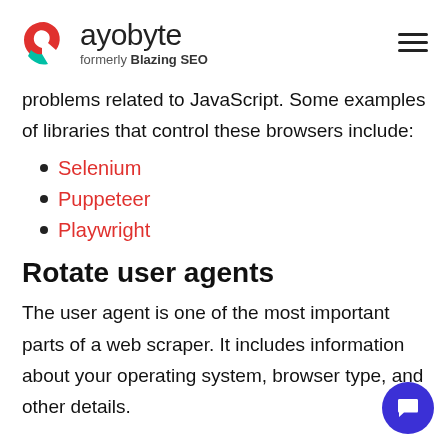rayobyte formerly Blazing SEO
problems related to JavaScript. Some examples of libraries that control these browsers include:
Selenium
Puppeteer
Playwright
Rotate user agents
The user agent is one of the most important parts of a web scraper. It includes information about your operating system, browser type, and other details.